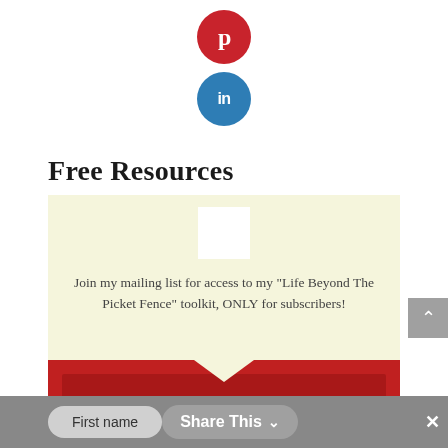[Figure (illustration): Pinterest social media icon - red circle with white 'p' letter]
[Figure (illustration): LinkedIn social media icon - blue circle with white 'in' text]
Free Resources
[Figure (infographic): Promotional card with cream/beige top section showing a white image placeholder and text 'Join my mailing list for access to my "Life Beyond The Picket Fence" toolkit, ONLY for subscribers!' and a red bottom section with darker red inner box, with a downward pointing triangle divider]
Join my mailing list for access to my "Life Beyond The Picket Fence" toolkit, ONLY for subscribers!
First name
Share This